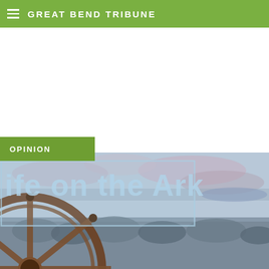GREAT BEND TRIBUNE
OPINION
[Figure (photo): Hero image showing a ship's wooden steering wheel in the foreground with a scenic river valley and cloudy sky in the background, with overlaid text reading 'life on the Ark']